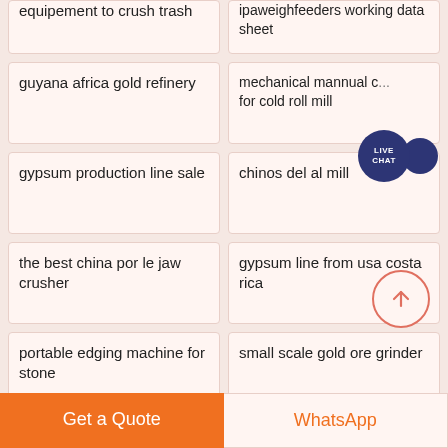equipement to crush trash
ipaweighfeeders working data sheet
guyana africa gold refinery
mechanical mannual c... for cold roll mill
gypsum production line sale
chinos del al mill
the best china por le jaw crusher
gypsum line from usa costa rica
portable edging machine for stone
small scale gold ore grinder
Get a Quote
WhatsApp